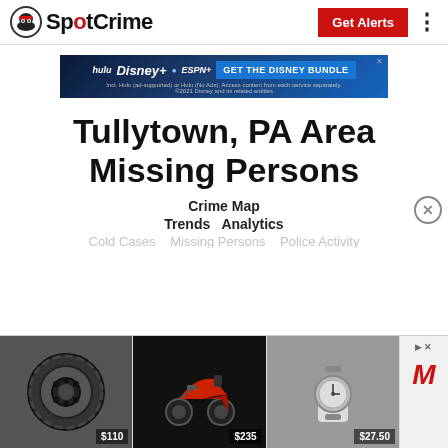SpotCrime
[Figure (screenshot): Disney Bundle advertisement banner with Hulu, Disney+, ESPN+ logos and GET THE DISNEY BUNDLE button]
Tullytown, PA Area Missing Persons
Crime Map
Trends  Analytics
[Figure (screenshot): Bottom advertisement strip showing tire ($110), scooter ($235), watch ($27.50) and a red M logo]